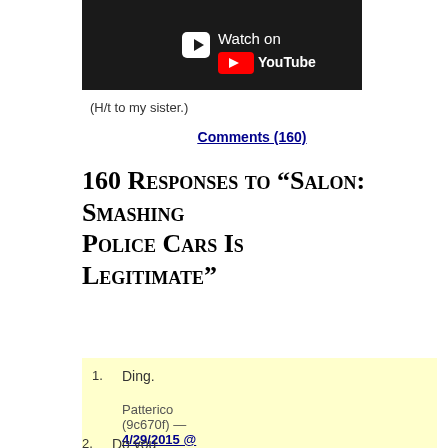[Figure (screenshot): YouTube video thumbnail with 'Watch on YouTube' button on dark background]
(H/t to my sister.)
Comments (160)
160 Responses to “Salon: Smashing Police Cars Is Legitimate”
1. Ding.

Patterico (9c670f) — 4/29/2015 @ 7:47 am
2. Do you consider the behavior of
Schiavo
Scum
Second Amendment
Sheehan
Snarkage
Space
Sports
Stark Choice
Terrorism
The Fed
Velvet Revolution
War
Watcher's Council
Year in Review
Archives:
August 2022
July 2022
June 2022
May 2022
April 2022
March 2022
February 2022
January 2022
December 2021
November 2021
October 2021
September 2021
August 2021
July 2021
June 2021
May 2021